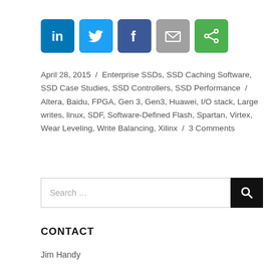[Figure (other): Row of social share icons: LinkedIn (blue), Twitter (light blue), Facebook (dark blue), Email (gray), and a green share icon]
April 28, 2015 / Enterprise SSDs, SSD Caching Software, SSD Case Studies, SSD Controllers, SSD Performance / Altera, Baidu, FPGA, Gen 3, Gen3, Huawei, I/O stack, Large writes, linux, SDF, Software-Defined Flash, Spartan, Virtex, Wear Leveling, Write Balancing, Xilinx / 3 Comments
Search ...
CONTACT
Jim Handy